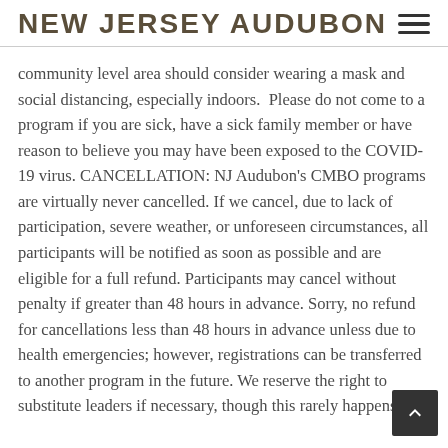NEW JERSEY AUDUBON
community level area should consider wearing a mask and social distancing, especially indoors.  Please do not come to a program if you are sick, have a sick family member or have reason to believe you may have been exposed to the COVID-19 virus. CANCELLATION: NJ Audubon's CMBO programs are virtually never cancelled. If we cancel, due to lack of participation, severe weather, or unforeseen circumstances, all participants will be notified as soon as possible and are eligible for a full refund. Participants may cancel without penalty if greater than 48 hours in advance. Sorry, no refund for cancellations less than 48 hours in advance unless due to health emergencies; however, registrations can be transferred to another program in the future. We reserve the right to substitute leaders if necessary, though this rarely happens.